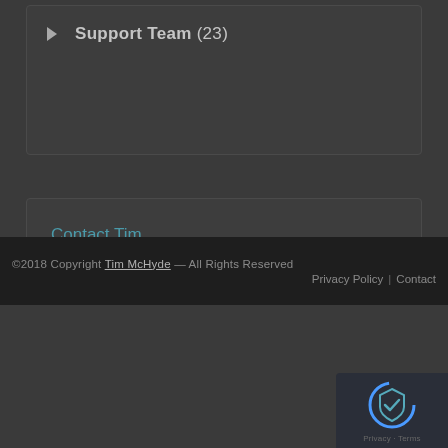Support Team (23)
Contact Tim
©2018 Copyright Tim McHyde — All Rights Reserved  Privacy Policy | Contact